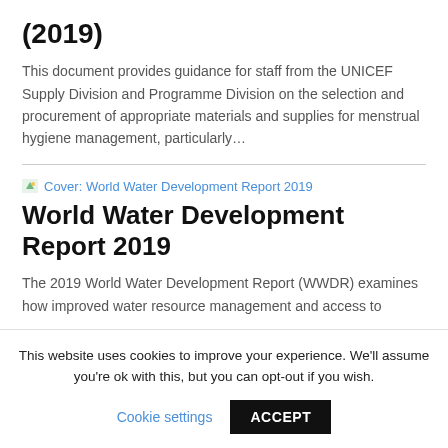(2019)
This document provides guidance for staff from the UNICEF Supply Division and Programme Division on the selection and procurement of appropriate materials and supplies for menstrual hygiene management, particularly...
[Figure (other): Cover thumbnail image for World Water Development Report 2019 with link text]
World Water Development Report 2019
The 2019 World Water Development Report (WWDR) examines how improved water resource management and access to
This website uses cookies to improve your experience. We'll assume you're ok with this, but you can opt-out if you wish.
Cookie settings   ACCEPT